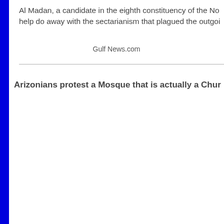Al Madan, a candidate in the eighth constituency of the No help do away with the sectarianism that plagued the outgoi
Gulf News.com
Arizonians protest a Mosque that is actually a Chur